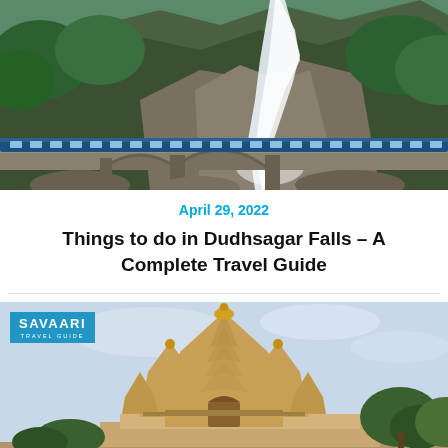[Figure (photo): A train crossing a stone viaduct bridge with Dudhsagar waterfall cascading down a rocky mountain covered in lush green forest in the background]
April 29, 2022
Things to do in Dudhsagar Falls – A Complete Travel Guide
[Figure (photo): An ornate Hindu temple (Khajuraho style) with multiple spires against a light sky, with the Savaari Travel Guide logo badge in the top left corner]